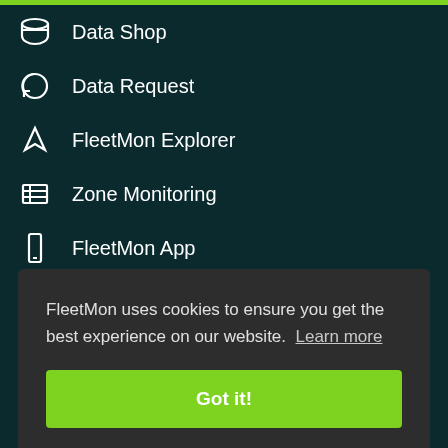Data Shop
Data Request
FleetMon Explorer
Zone Monitoring
FleetMon App
GPS Satellite Trackers
Vessel Risk Rating
Service Status
FleetMon uses cookies to ensure you get the best experience on our website. Learn more
Got it!